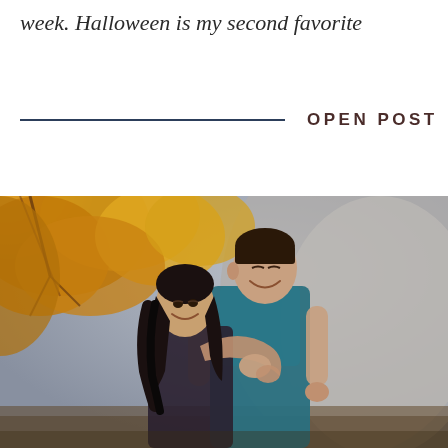week. Halloween is my second favorite
OPEN POST
[Figure (photo): A couple embracing outdoors among autumn trees with golden yellow foliage and rocky background. A woman with long dark wavy hair hugs a man from behind; he wears a teal button-up shirt and smiles. Both appear happy.]